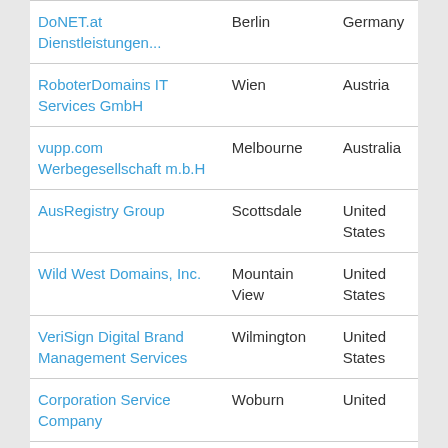| Name | City | Country |
| --- | --- | --- |
| DoNET.at Dienstleistungen... | Berlin | Germany |
| RoboterDomains IT Services GmbH | Wien | Austria |
| vupp.com Werbegesellschaft m.b.H | Melbourne | Australia |
| AusRegistry Group | Scottsdale | United States |
| Wild West Domains, Inc. | Mountain View | United States |
| VeriSign Digital Brand Management Services | Wilmington | United States |
| Corporation Service Company | Woburn | United |